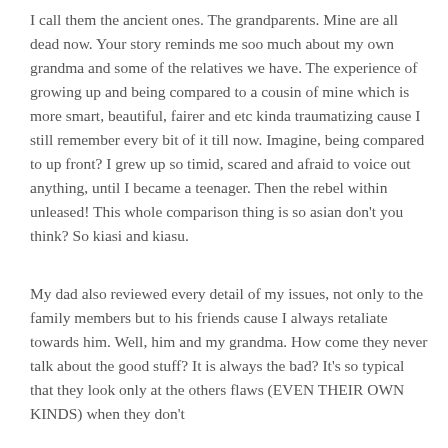I call them the ancient ones. The grandparents. Mine are all dead now. Your story reminds me soo much about my own grandma and some of the relatives we have. The experience of growing up and being compared to a cousin of mine which is more smart, beautiful, fairer and etc kinda traumatizing cause I still remember every bit of it till now. Imagine, being compared to up front? I grew up so timid, scared and afraid to voice out anything, until I became a teenager. Then the rebel within unleased! This whole comparison thing is so asian don't you think? So kiasi and kiasu.
My dad also reviewed every detail of my issues, not only to the family members but to his friends cause I always retaliate towards him. Well, him and my grandma. How come they never talk about the good stuff? It is always the bad? It's so typical that they look only at the others flaws (EVEN THEIR OWN KINDS) when they don't